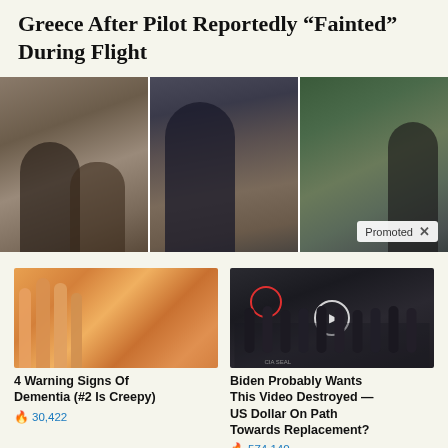Greece After Pilot Reportedly “Fainted” During Flight
[Figure (photo): Three side-by-side blurry video stills showing people in what appears to be an airplane interior. A 'Promoted X' badge appears in the bottom right corner.]
[Figure (photo): Close-up photo of fingers/hand with yellow-orange nails or skin discoloration.]
4 Warning Signs Of Dementia (#2 Is Creepy)
🔥 30,422
[Figure (photo): Dark group photo of people standing in formal attire, possibly at CIA headquarters, with a red circle highlighting one person and a play button overlay.]
Biden Probably Wants This Video Destroyed — US Dollar On Path Towards Replacement?
🔥 574,140